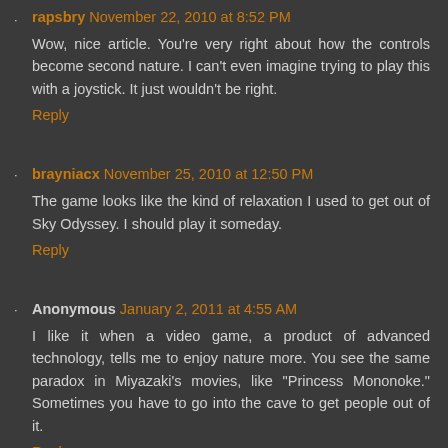rapsbry November 22, 2010 at 8:52 PM
Wow, nice article. You're very right about how the controls become second nature. I can't even imagine trying to play this with a joystick. It just wouldn't be right.
Reply
brayniacx November 25, 2010 at 12:50 PM
The game looks like the kind of relaxation I used to get out of Sky Odyssey. I should play it someday.
Reply
Anonymous January 2, 2011 at 4:55 AM
I like it when a video game, a product of advanced technology, tells me to enjoy nature more. You see the same paradox in Miyazaki's movies, like "Princess Mononoke." Sometimes you have to go into the cave to get people out of it.
Reply